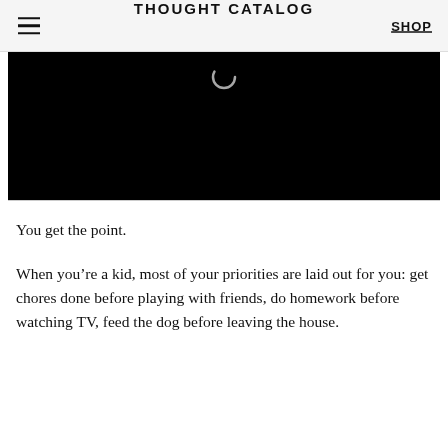THOUGHT CATALOG | SHOP
[Figure (screenshot): Black video player area with a loading spinner (partial circle) visible at the top center]
You get the point.
When you’re a kid, most of your priorities are laid out for you: get chores done before playing with friends, do homework before watching TV, feed the dog before leaving the house.